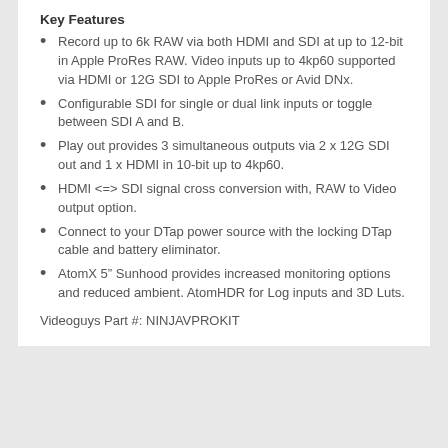Key Features
Record up to 6k RAW via both HDMI and SDI at up to 12-bit in Apple ProRes RAW. Video inputs up to 4kp60 supported via HDMI or 12G SDI to Apple ProRes or Avid DNx.
Configurable SDI for single or dual link inputs or toggle between SDI A and B.
Play out provides 3 simultaneous outputs via 2 x 12G SDI out and 1 x HDMI in 10-bit up to 4kp60.
HDMI <=> SDI signal cross conversion with, RAW to Video output option.
Connect to your DTap power source with the locking DTap cable and battery eliminator.
AtomX 5” Sunhood provides increased monitoring options and reduced ambient. AtomHDR for Log inputs and 3D Luts.
Videoguys Part #: NINJAVPROKIT